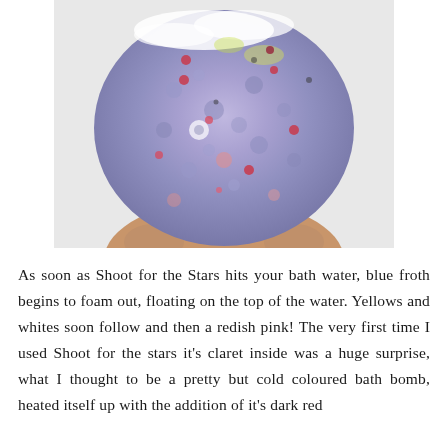[Figure (photo): A hand holding a large bath bomb with a bumpy, textured surface. The bath bomb is predominantly purple/lavender in color with specks of red, pink, yellow, and green scattered across it. White foam or fizz is visible at the top edge of the bath bomb.]
As soon as Shoot for the Stars hits your bath water, blue froth begins to foam out, floating on the top of the water. Yellows and whites soon follow and then a redish pink! The very first time I used Shoot for the stars it's claret inside was a huge surprise, what I thought to be a pretty but cold coloured bath bomb, heated itself up with the addition of it's dark red